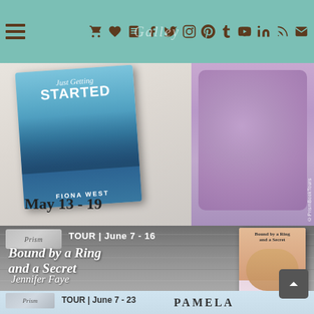Navigation header with menu icons and social media icons on a teal background
[Figure (photo): Book tour banner for 'Just Getting Started' by Fiona West, May 13-19. Shows book cover with couple sitting outdoors and pine trees, against cream fabric, with purple flowers on right side.]
[Figure (photo): Book tour banner for 'Bound by a Ring and a Secret' by Jennifer Faye, Tour June 7-16. Shows title text on gray wood background with wedding ring, alongside book cover showing woman with flower crown and golden retriever.]
[Figure (photo): Book tour banner partial view, Tour June 7-23, showing author name PAMELA at bottom, on light blue background.]